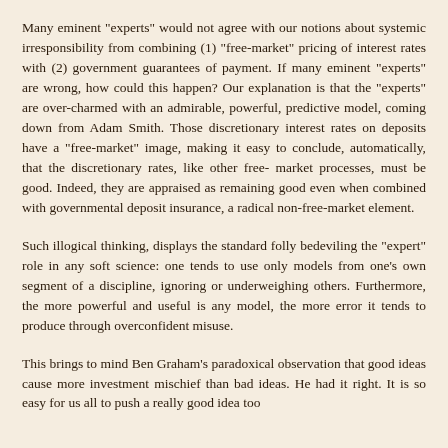Many eminent "experts" would not agree with our notions about systemic irresponsibility from combining (1) "free-market" pricing of interest rates with (2) government guarantees of payment. If many eminent "experts" are wrong, how could this happen? Our explanation is that the "experts" are over-charmed with an admirable, powerful, predictive model, coming down from Adam Smith. Those discretionary interest rates on deposits have a "free-market" image, making it easy to conclude, automatically, that the discretionary rates, like other free- market processes, must be good. Indeed, they are appraised as remaining good even when combined with governmental deposit insurance, a radical non-free-market element.
Such illogical thinking, displays the standard folly bedeviling the "expert" role in any soft science: one tends to use only models from one's own segment of a discipline, ignoring or underweighing others. Furthermore, the more powerful and useful is any model, the more error it tends to produce through overconfident misuse.
This brings to mind Ben Graham's paradoxical observation that good ideas cause more investment mischief than bad ideas. He had it right. It is so easy for us all to push a really good idea too far.